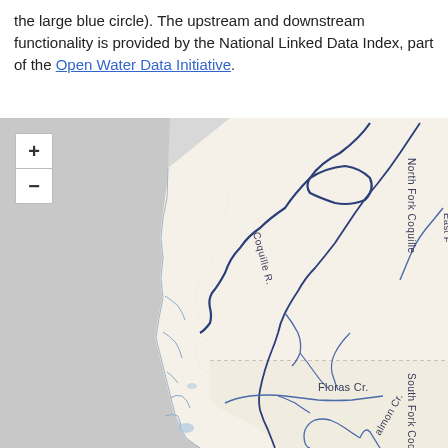the large blue circle). The upstream and downstream functionality is provided by the National Linked Data Index, part of the Open Water Data Initiative.
[Figure (map): Interactive web map showing river systems including Coquille R., North Fork Coquille, South Fork Coquille R., Floras Cr., and Salmon Cr. along the Oregon coast. Map has zoom in/out controls in upper left. Land areas shown in white and light beige, water/ocean in light grey, rivers in dark blue lines with labels.]